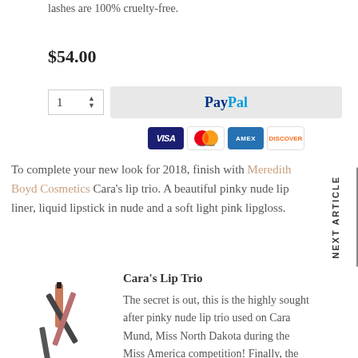lashes are 100% cruelty-free.
$54.00
[Figure (screenshot): Quantity selector box showing '1' with up/down arrows, and PayPal checkout button alongside Visa, Mastercard, Amex, Discover card icons]
To complete your new look for 2018, finish with Meredith Boyd Cosmetics Cara's lip trio. A beautiful pinky nude lip liner, liquid lipstick in nude and a soft light pink lipgloss.
NEXT ARTICLE
[Figure (photo): Cara's Lip Trio product image showing lip liner pencils crossed over a lip gloss tube in pinkish nude tones]
Cara's Lip Trio
The secret is out, this is the highly sought after pinky nude lip trio used on Cara Mund, Miss North Dakota during the Miss America competition! Finally, the perfect pinky nude lippie